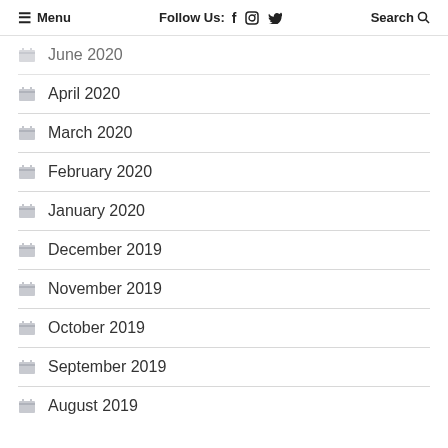≡ Menu    Follow Us: f  ⊙  🐦    Search 🔍
June 2020
April 2020
March 2020
February 2020
January 2020
December 2019
November 2019
October 2019
September 2019
August 2019